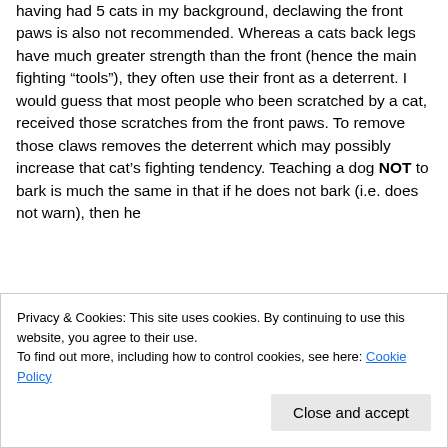having had 5 cats in my background, declawing the front paws is also not recommended. Whereas a cats back legs have much greater strength than the front (hence the main fighting “tools”), they often use their front as a deterrent. I would guess that most people who been scratched by a cat, received those scratches from the front paws. To remove those claws removes the deterrent which may possibly increase that cat’s fighting tendency. Teaching a dog NOT to bark is much the same in that if he does not bark (i.e. does not warn), then he
Privacy & Cookies: This site uses cookies. By continuing to use this website, you agree to their use.
To find out more, including how to control cookies, see here: Cookie Policy
Close and accept